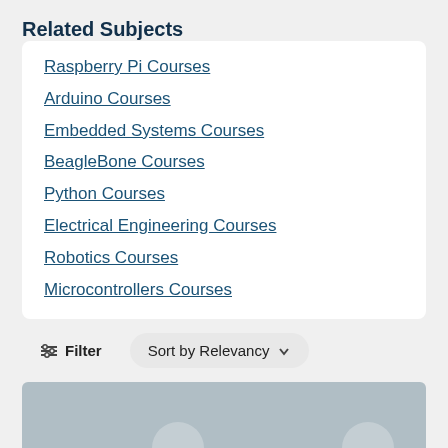Related Subjects
Raspberry Pi Courses
Arduino Courses
Embedded Systems Courses
BeagleBone Courses
Python Courses
Electrical Engineering Courses
Robotics Courses
Microcontrollers Courses
[Figure (screenshot): Filter and Sort by Relevancy buttons row]
[Figure (photo): Partial course card image with grey/blue background and two circular elements visible at bottom]